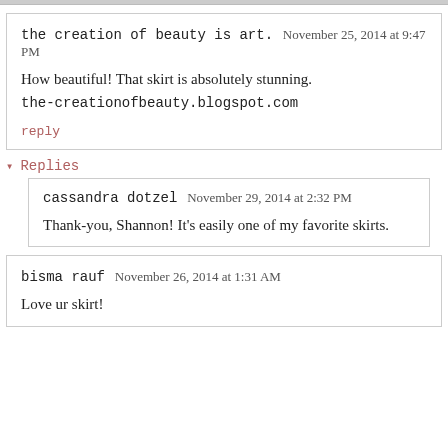the creation of beauty is art. November 25, 2014 at 9:47 PM
How beautiful! That skirt is absolutely stunning.
the-creationofbeauty.blogspot.com
reply
▾ Replies
cassandra dotzel November 29, 2014 at 2:32 PM
Thank-you, Shannon! It's easily one of my favorite skirts.
bisma rauf November 26, 2014 at 1:31 AM
Love ur skirt!